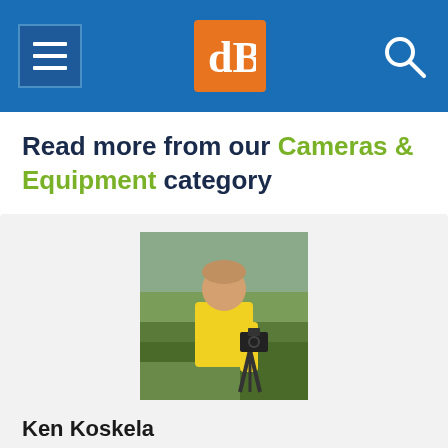dPS navigation header with hamburger menu, dPS logo, and search icon
Read more from our Cameras & Equipment category
[Figure (photo): Author Ken Koskela wearing a yellow shirt, holding a camera on a tripod outdoors on a hillside]
Ken Koskela is a Chicago-based travel photographer who captures subjects in excellent light, whether